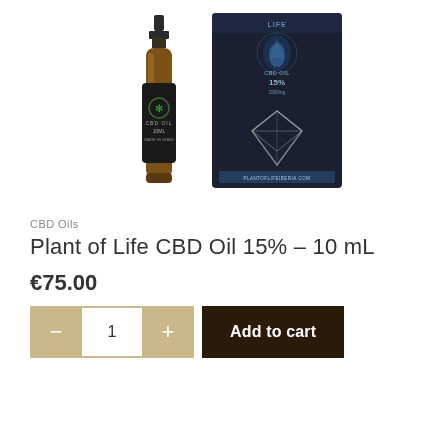[Figure (photo): A 10ml amber dropper bottle of Plant of Life CBD Oil 15% with a dark label showing a cannabis leaf/snowflake design, alongside its dark packaging box featuring a diamond graphic and the CBD Life branding.]
CBD Oils
Plant of Life CBD Oil 15% – 10 mL
€75.00